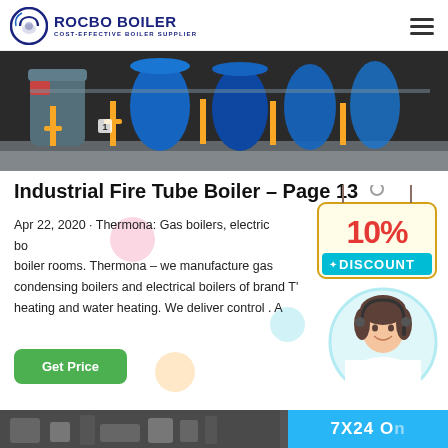ROCBO BOILER — COST-EFFECTIVE BOILER SUPPLIER
[Figure (photo): Industrial boiler room with multiple blue cylindrical boilers, yellow piping, and control systems]
Industrial Fire Tube Boiler – Page 13
Apr 22, 2020 · Thermona: Gas boilers, electric boilers and boiler rooms. Thermona – we manufacture gas condensing boilers and electrical boilers of brand T heating and water heating. We deliver control . A
[Figure (infographic): 10% DISCOUNT promotional badge with red bold text]
[Figure (photo): Female customer service agent wearing headset, smiling]
[Figure (photo): Bottom strip showing industrial equipment on left and 7X24 online support text on right blue background]